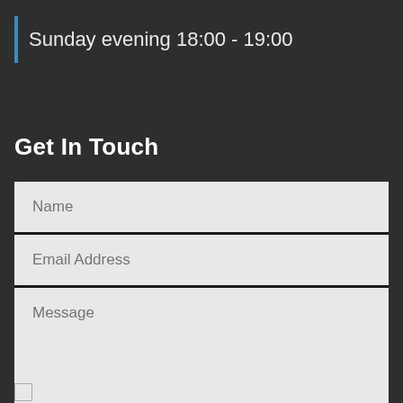Sunday evening 18:00 - 19:00
Get In Touch
[Figure (screenshot): Contact form with Name, Email Address, and Message input fields on a dark background]
I consent to having Groaners Edge Baptist...